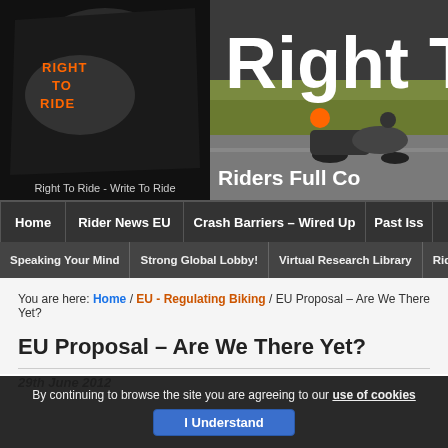[Figure (logo): Right To Ride logo with motorcycle imagery and tagline 'Right To Ride - Write To Ride', and 'Right T...' large text with 'Riders Full Co...' subtitle over road/motorcycle background image]
Home | Rider News EU | Crash Barriers – Wired Up | Past Iss...
Speaking Your Mind | Strong Global Lobby! | Virtual Research Library | Rider S...
You are here: Home / EU - Regulating Biking / EU Proposal – Are We There Yet?
EU Proposal – Are We There Yet?
29th June 2012
By continuing to browse the site you are agreeing to our use of cookies  I Understand